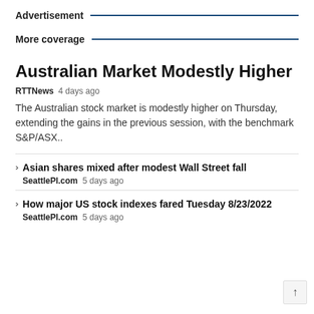Advertisement
More coverage
Australian Market Modestly Higher
RTTNews  4 days ago
The Australian stock market is modestly higher on Thursday, extending the gains in the previous session, with the benchmark S&P/ASX..
Asian shares mixed after modest Wall Street fall
SeattlePI.com  5 days ago
How major US stock indexes fared Tuesday 8/23/2022
SeattlePI.com  5 days ago